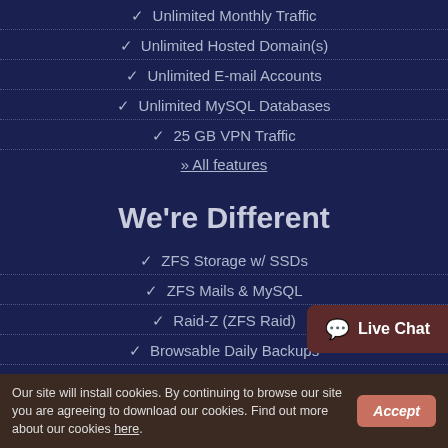✓ Unlimited Monthly Traffic
✓ Unlimited Hosted Domain(s)
✓ Unlimited E-mail Accounts
✓ Unlimited MySQL Databases
✓ 25 GB VPN Traffic
» All features
We're Different
✓ ZFS Storage w/ SSDs
✓ ZFS Mails & MySQL
✓ Raid-Z (ZFS Raid)
✓ Browsable Daily Backups
✓ 99.9% Uptime Guarantee
✓ Domain Backorders
✓ No Data Corruption
Live Chat
Our site will install cookies. By continuing to browse our site you are agreeing to download our cookies. Find out more about our cookies here.